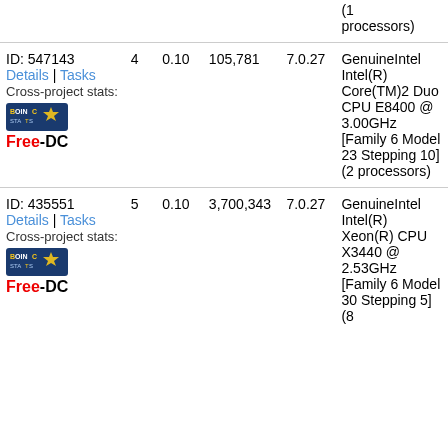| ID/Details | Num | Dec | Big | Ver | CPU |
| --- | --- | --- | --- | --- | --- |
| (1 processors) |  |  |  |  |  |
| ID: 547143
Details | Tasks
Cross-project stats:
[BOINC Stats]
Free-DC | 4 | 0.10 | 105,781 | 7.0.27 | GenuineIntel Intel(R) Core(TM)2 Duo CPU E8400 @ 3.00GHz [Family 6 Model 23 Stepping 10] (2 processors) |
| ID: 435551
Details | Tasks
Cross-project stats:
[BOINC Stats]
Free-DC | 5 | 0.10 | 3,700,343 | 7.0.27 | GenuineIntel Intel(R) Xeon(R) CPU X3440 @ 2.53GHz [Family 6 Model 30 Stepping 5] (8 |